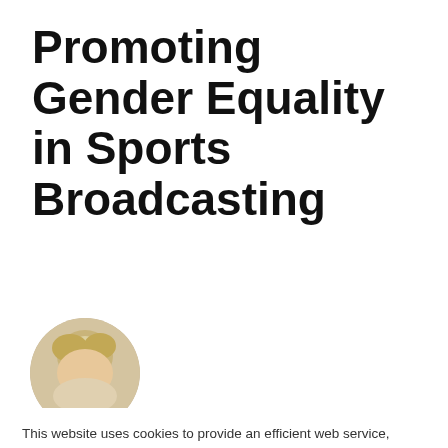Promoting Gender Equality in Sports Broadcasting
[Figure (photo): Circular avatar photo of a person with blonde hair, partially visible]
This website uses cookies to provide an efficient web service, collect information about how you interact with our website and to remember you. We use this information in order to improve and customize your browsing experience and for analytics and metrics about our visitors both on this website and other media. To find out more about the cookies we use, see our Privacy Policy.
We also use LinkedIn Insight to personalize advertising on LinkedIn. These cookies, however, are subject to your consent.